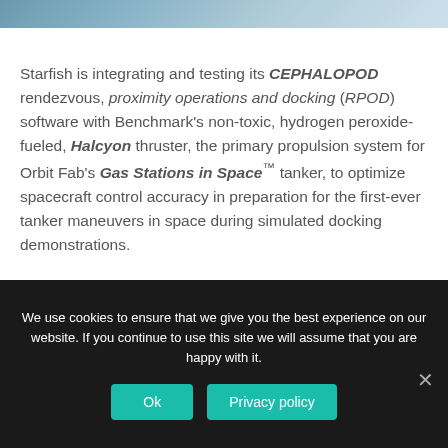[Figure (photo): Partial view of a space or satellite image, cropped at the top of the page]
Starfish is integrating and testing its CEPHALOPOD rendezvous, proximity operations and docking (RPOD) software with Benchmark's non-toxic, hydrogen peroxide-fueled, Halcyon thruster, the primary propulsion system for Orbit Fab's Gas Stations in Space™ tanker, to optimize spacecraft control accuracy in preparation for the first-ever tanker maneuvers in space during simulated docking demonstrations.
We use cookies to ensure that we give you the best experience on our website. If you continue to use this site we will assume that you are happy with it.